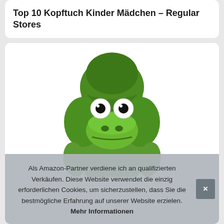Top 10 Kopftuch Kinder Mädchen – Regular Stores
[Figure (photo): Green crocodile plush toy wearing a green hood/headscarf, looking straight at the camera with large white eyes and black pupils, photographed against white background.]
Als Amazon-Partner verdiene ich an qualifizierten Verkäufen. Diese Website verwendet die einzig erforderlichen Cookies, um sicherzustellen, dass Sie die bestmögliche Erfahrung auf unserer Website erzielen. Mehr Informationen